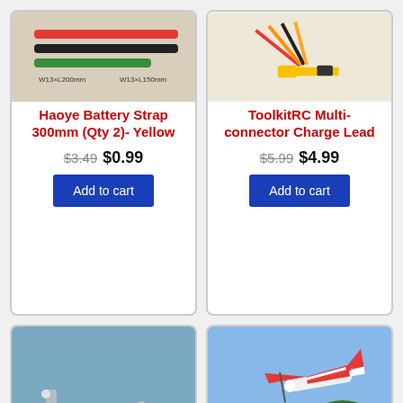[Figure (photo): Haoye battery straps in multiple colors (red, black, green) with size labels W13xL200mm and W13xL150mm]
Haoye Battery Strap 300mm (Qty 2)- Yellow
$3.49 $0.99
Add to cart
[Figure (photo): ToolkitRC multi-connector charge lead with yellow XT60 connector and multiple wire leads]
ToolkitRC Multi-connector Charge Lead
$5.99 $4.99
Add to cart
[Figure (photo): Metal RC airplane hardware parts on blue background - servo arm and threaded rod assembly]
[Figure (photo): Red and white RC airplane in flight over trees and grass]